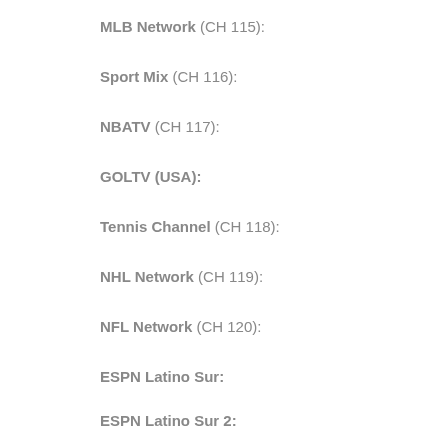MLB Network (CH 115):
Sport Mix  (CH 116):
NBATV  (CH 117):
GOLTV (USA):
Tennis Channel (CH 118):
NHL Network (CH 119):
NFL Network (CH 120):
ESPN Latino Sur:
ESPN Latino Sur 2: